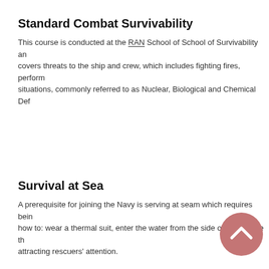Standard Combat Survivability
This course is conducted at the RAN School of School of Survivability and covers threats to the ship and crew, which includes fighting fires, performing situations, commonly referred to as Nuclear, Biological and Chemical Def
Survival at Sea
A prerequisite for joining the Navy is serving at seam which requires being how to: wear a thermal suit, enter the water from the side of a ship, use th attracting rescuers' attention.
Systems Management
These lessons cover the various systems employed by the RAN including systems.